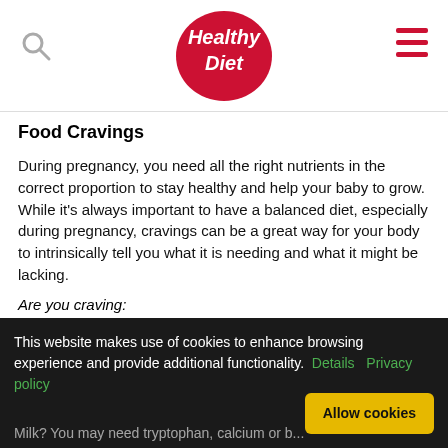Healthy Diet [logo with search and hamburger menu]
Food Cravings
During pregnancy, you need all the right nutrients in the correct proportion to stay healthy and help your baby to grow. While it's always important to have a balanced diet, especially during pregnancy, cravings can be a great way for your body to intrinsically tell you what it is needing and what it might be lacking.
Are you craving:
Apples? You may need calcium, magnesium, phosphorus or potassium
Melson? You may need potassium and vitamin A
Cheese? You may need calcium, phosphorous or aluminium
This website makes use of cookies to enhance browsing experience and provide additional functionality. Details  Privacy policy  Allow cookies